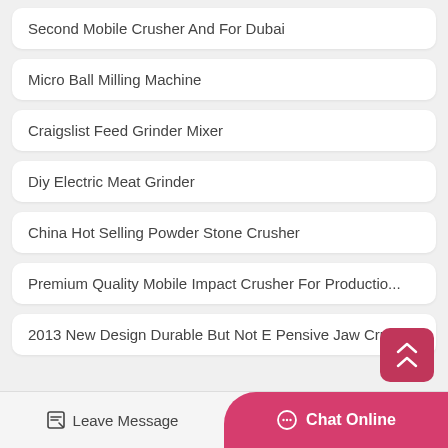Second Mobile Crusher And For Dubai
Micro Ball Milling Machine
Craigslist Feed Grinder Mixer
Diy Electric Meat Grinder
China Hot Selling Powder Stone Crusher
Premium Quality Mobile Impact Crusher For Productio...
2013 New Design Durable But Not E Pensive Jaw Cru...